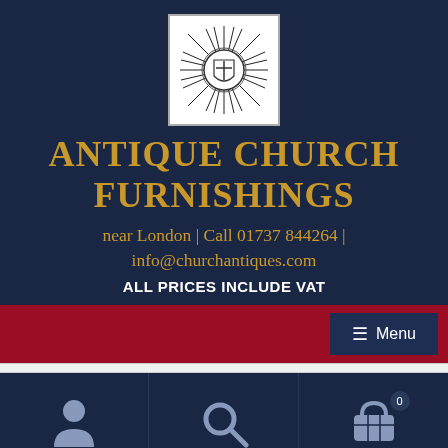[Figure (logo): Sun/starburst emblem with cross and shield in center, black and white illustration in white bordered box]
ANTIQUE CHURCH FURNISHINGS
near London | Call 01737 844264 | info@churchantiques.com
ALL PRICES INCLUDE VAT
≡ Menu
[Figure (illustration): User/person icon in light gray]
[Figure (illustration): Search/magnifying glass icon in light gray]
[Figure (illustration): Shopping basket/cart icon with badge showing 0]